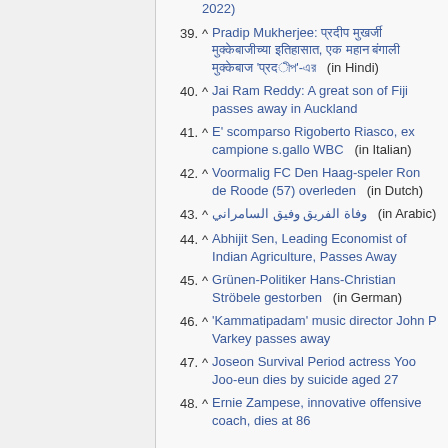2022)
39. ^ Pradip Mukherjee: [Hindi text] (in Hindi)
40. ^ Jai Ram Reddy: A great son of Fiji passes away in Auckland
41. ^ E' scomparso Rigoberto Riasco, ex campione s.gallo WBC    (in Italian)
42. ^ Voormalig FC Den Haag-speler Ron de Roode (57) overleden    (in Dutch)
43. ^ وفاة الفريق وفيق السامراني    (in Arabic)
44. ^ Abhijit Sen, Leading Economist of Indian Agriculture, Passes Away
45. ^ Grünen-Politiker Hans-Christian Ströbele gestorben    (in German)
46. ^ 'Kammatipadam' music director John P Varkey passes away
47. ^ Joseon Survival Period actress Yoo Joo-eun dies by suicide aged 27
48. ^ Ernie Zampese, innovative offensive coach, dies at 86